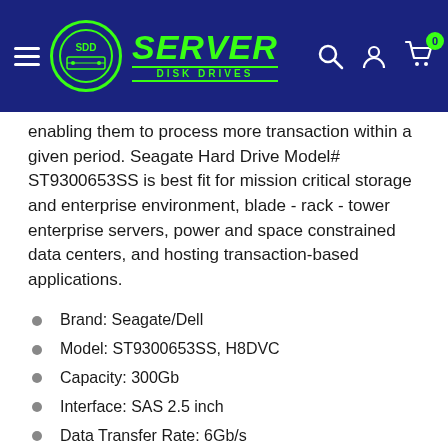[Figure (logo): Server Disk Drives website header with logo, hamburger menu, search icon, account icon, and cart icon with 0 badge on dark blue background]
enabling them to process more transaction within a given period. Seagate Hard Drive Model# ST9300653SS is best fit for mission critical storage and enterprise environment, blade - rack - tower enterprise servers, power and space constrained data centers, and hosting transaction-based applications.
Brand: Seagate/Dell
Model: ST9300653SS, H8DVC
Capacity: 300Gb
Interface: SAS 2.5 inch
Data Transfer Rate: 6Gb/s
Rotational Speed: 15,000rpm
Internal Cache: 64Mb